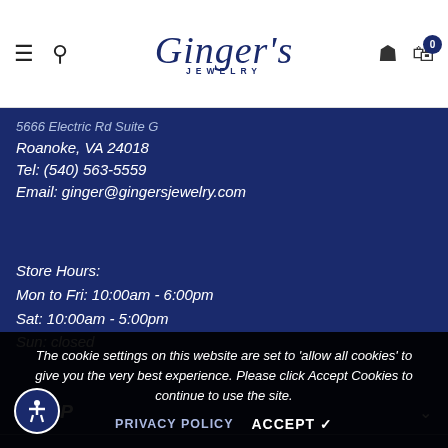Ginger's Jewelry — navigation header with hamburger menu, search, logo, user icon, cart (0)
5666 Electric Rd Suite G
Roanoke, VA 24018
Tel: (540) 563-5559
Email: ginger@gingersjewelry.com
Store Hours:
Mon to Fri: 10:00am - 6:00pm
Sat: 10:00am - 5:00pm
Sun: closed
SHOP
TOP BRANDS
INFORMATION
CUSTOMER SERVICE
The cookie settings on this website are set to 'allow all cookies' to give you the very best experience. Please click Accept Cookies to continue to use the site.
PRIVACY POLICY   ACCEPT ✔